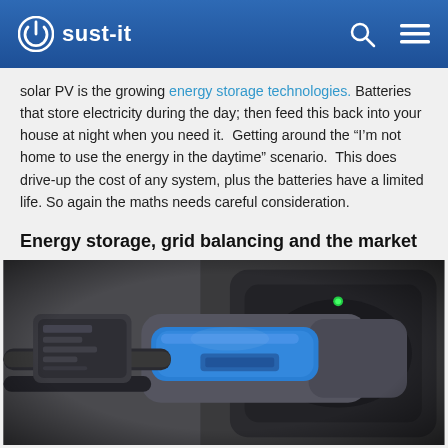sust-it
solar PV is the growing energy storage technologies. Batteries that store electricity during the day; then feed this back into your house at night when you need it.  Getting around the “I’m not home to use the energy in the daytime” scenario.  This does drive-up the cost of any system, plus the batteries have a limited life. So again the maths needs careful consideration.
Energy storage, grid balancing and the market
[Figure (photo): Close-up photograph of an electric vehicle charging connector plugged into a car charging port, with blue and black cable visible.]